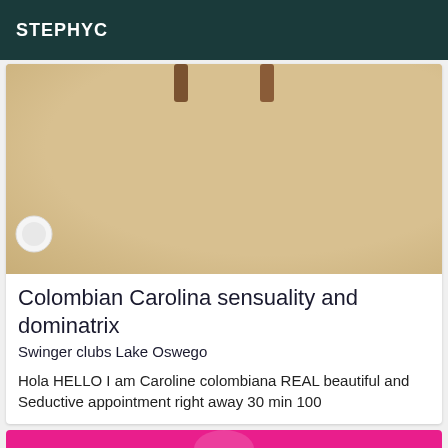STEPHYC
[Figure (photo): Photo showing a tan/beige carpet floor with furniture legs visible at the top and a white cup or bowl at the bottom left corner]
Colombian Carolina sensuality and dominatrix
Swinger clubs Lake Oswego
Hola HELLO I am Caroline colombiana REAL beautiful and Seductive appointment right away 30 min 100
[Figure (photo): Bottom of page shows a bright pink/magenta background with partial image]